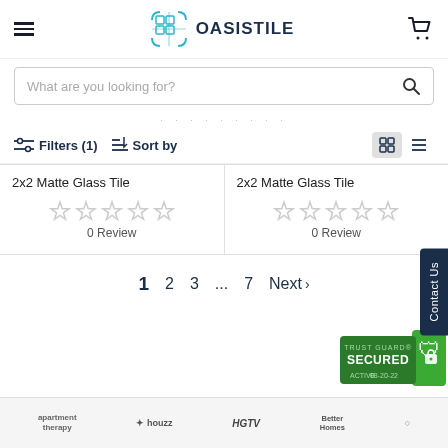[Figure (logo): Oasis Tile logo with teal tile graphic and dark navy wordmark OASISTILE]
What are you looking for?
Filters (1)   Sort by
2x2 Matte Glass Tile
0 Review
2x2 Matte Glass Tile
0 Review
1  2  3  ...  7  Next ›
[Figure (logo): Trust Guard Secured badge - Active 08-20-22]
[Figure (logo): Footer partner logos: apartment therapy, houzz, HGTV, Better Homes]